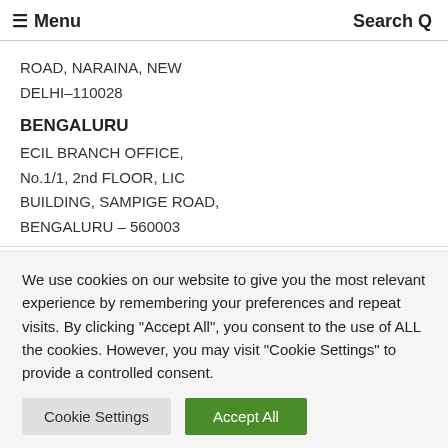≡ Menu  Search Q
ROAD, NARAINA, NEW
DELHI-110028
BENGALURU
ECIL BRANCH OFFICE,
No.1/1, 2nd FLOOR, LIC
BUILDING, SAMPIGE ROAD,
BENGALURU – 560003
We use cookies on our website to give you the most relevant experience by remembering your preferences and repeat visits. By clicking "Accept All", you consent to the use of ALL the cookies. However, you may visit "Cookie Settings" to provide a controlled consent.
Cookie Settings  Accept All